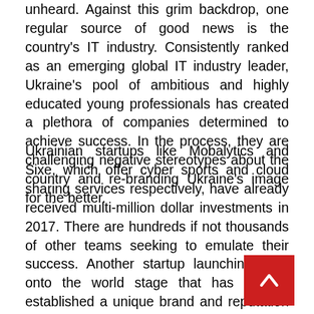unheard. Against this grim backdrop, one regular source of good news is the country's IT industry. Consistently ranked as an emerging global IT industry leader, Ukraine's pool of ambitious and highly educated young professionals has created a plethora of companies determined to achieve success. In the process, they are challenging negative stereotypes about the country and re-branding Ukraine's image for the better.
Ukrainian startups like Mobalytics and Sixe, which offer cyber sports and cloud sharing services respectively, have already received multi-million dollar investments in 2017. There are hundreds if not thousands of other teams seeking to emulate their success. Another startup launching itself onto the world stage that has already established a unique brand and reputation for itself [b] technologies.